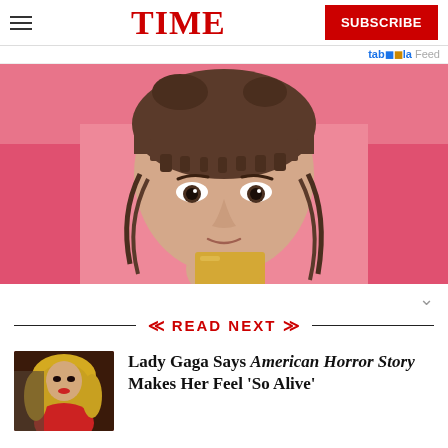TIME | SUBSCRIBE
taboola Feed
[Figure (photo): Close-up photo of a young woman with dark hair and bangs, holding something yellow near her chin, against a pink background]
READ NEXT
[Figure (photo): Thumbnail photo of Lady Gaga]
Lady Gaga Says American Horror Story Makes Her Feel 'So Alive'